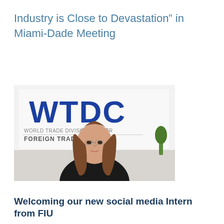Industry is Close to Devastation” in Miami-Dade Meeting
[Figure (photo): A young woman with long brown hair standing in front of a WTDC (World Trade Division Center) sign and a secondary sign reading 'FOREIGN TRADE'.]
Welcoming our new social media Intern from FIU